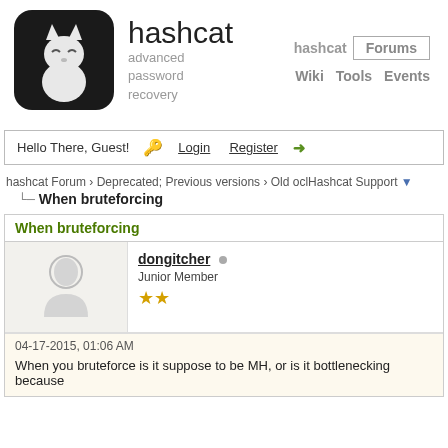[Figure (logo): Hashcat logo — dark rounded square with white cat silhouette]
hashcat
advanced password recovery
hashcat  Forums  Wiki  Tools  Events
Hello There, Guest!  Login  Register →
hashcat Forum › Deprecated; Previous versions › Old oclHashcat Support ▼
When bruteforcing
When bruteforcing
dongitcher
Junior Member
04-17-2015, 01:06 AM
When you bruteforce is it suppose to be MH, or is it bottlenecking because